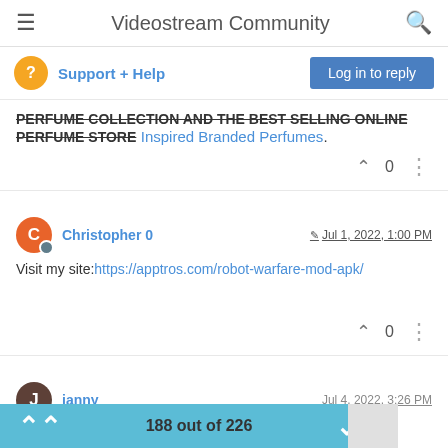Videostream Community
Support + Help
Log in to reply
PERFUME COLLECTION AND THE BEST SELLING ONLINE PERFUME STORE Inspired Branded Perfumes.
0
Christopher 0 — Jul 1, 2022, 1:00 PM
Visit my site:https://apptros.com/robot-warfare-mod-apk/
0
janny — Jul 4, 2022, 3:26 PM
188 out of 226